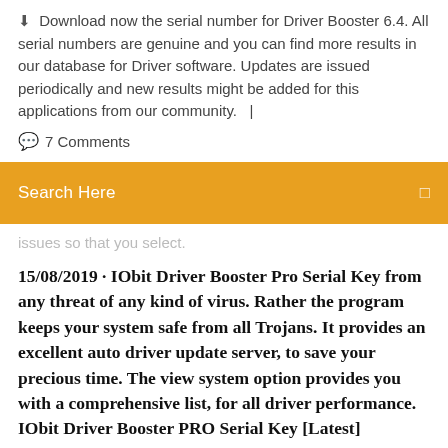⬇ Download now the serial number for Driver Booster 6.4. All serial numbers are genuine and you can find more results in our database for Driver software. Updates are issued periodically and new results might be added for this applications from our community.   |
💬 7 Comments
[Figure (screenshot): Orange search bar with text 'Search Here' and a search icon on the right]
issues so that you select.
15/08/2019 · IObit Driver Booster Pro Serial Key from any threat of any kind of virus. Rather the program keeps your system safe from all Trojans. It provides an excellent auto driver update server, to save your precious time. The view system option provides you with a comprehensive list, for all driver performance. IObit Driver Booster PRO Serial Key [Latest]
This will come complete with full information regarding their age and if they need replacing. If they do need replacing then Driver